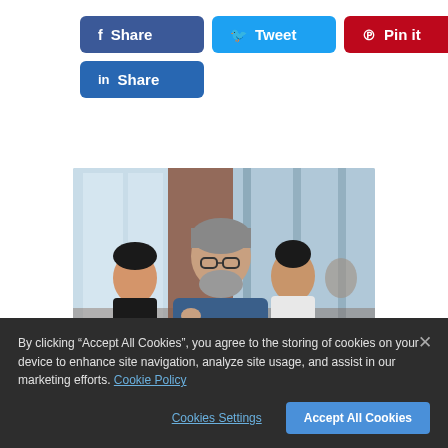[Figure (other): Social share buttons: Facebook Share (dark blue), Twitter Tweet (light blue), Pinterest Pin it (red), LinkedIn Share (medium blue)]
[Figure (photo): Office meeting photo showing a group of people including a bearded middle-aged man with glasses in the foreground, others in background, modern glass office setting]
By clicking “Accept All Cookies”, you agree to the storing of cookies on your device to enhance site navigation, analyze site usage, and assist in our marketing efforts. Cookie Policy
Cookies Settings
Accept All Cookies